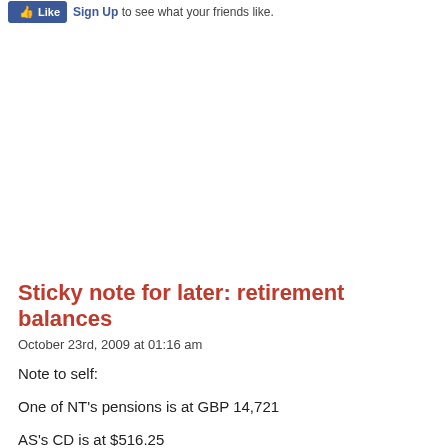Like  Sign Up to see what your friends like.
Sticky note for later: retirement balances
October 23rd, 2009 at 01:16 am
Note to self:
One of NT's pensions is at GBP 14,721
AS's CD is at $516.25
That is all. We just got statements in the mail for these two accounts. I hardly ever get info on some of our accounts and don't know how to check them online, so I wanted to note these so I could update these totals on my